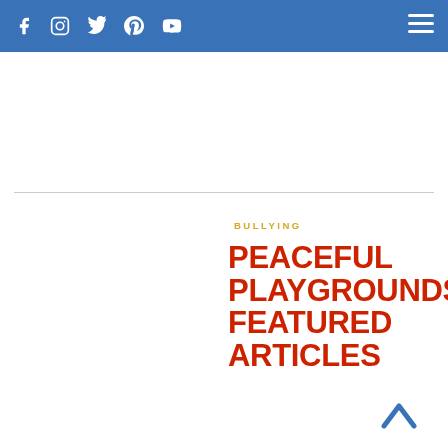Social media icons: Facebook, Instagram, Twitter, Pinterest, YouTube | Hamburger menu
BULLYING
Peaceful Playgrounds Featured Articles